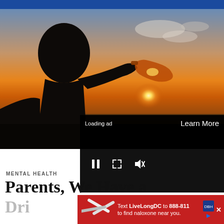[Figure (photo): Silhouette of a young person drinking from a bottle against a sunset sky with orange and golden light]
[Figure (screenshot): Video overlay with black background showing 'Loading ad' text, 'Learn More' link, and media controls (pause, fullscreen, mute)]
MENTAL HEALTH
Parents, We Have a Dri...
[Figure (infographic): Red advertisement banner: Text LiveLongDC to 888-811 to find naloxone near you, with DBH logo and needle imagery]